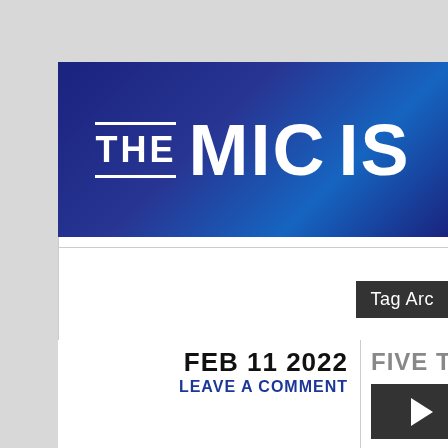[Figure (logo): Website banner with dark navy blue gradient background showing 'THE MIC IS' text in large bold white uppercase letters with horizontal lines above and below 'THE']
Tag Arc
FEB 11 2022
LEAVE A COMMENT
FIVE TRACK FR
[Figure (photo): Dark thumbnail image with play button]